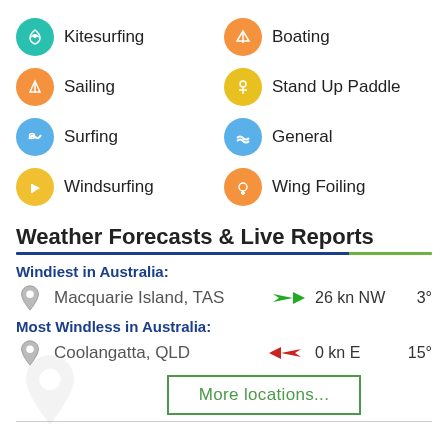Kitesurfing
Boating
Sailing
Stand Up Paddle
Surfing
General
Windsurfing
Wing Foiling
Weather Forecasts & Live Reports
Windiest in Australia:
Macquarie Island, TAS   26 kn NW   3°
Most Windless in Australia:
Coolangatta, QLD   0 kn E   15°
More locations...